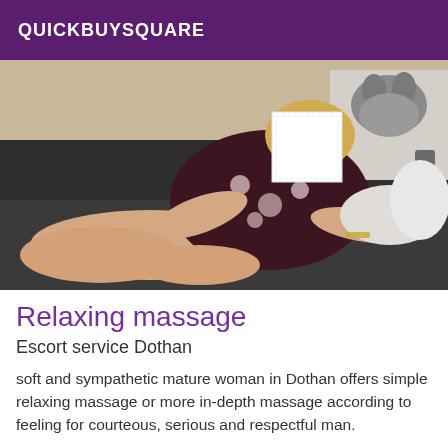QUICKBUYSQUARE
[Figure (photo): Woman in floral dress reclining on a dark sofa, face obscured with white square, wolf artwork visible in background]
Relaxing massage
Escort service Dothan
soft and sympathetic mature woman in Dothan offers simple relaxing massage or more in-depth massage according to feeling for courteous, serious and respectful man.